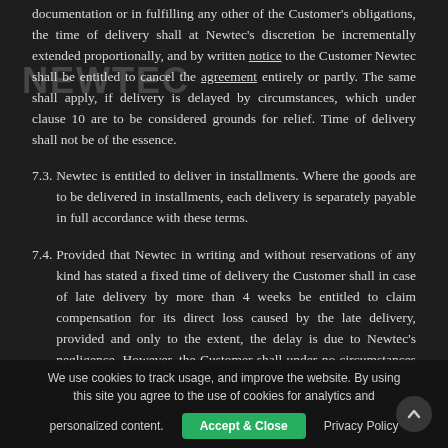documentation or in fulfilling any other of the Customer's obligations, the time of delivery shall at Newtec's discretion be incrementally extended proportionally, and by written notice to the Customer Newtec shall be entitled to cancel the agreement entirely or partly. The same shall apply, if delivery is delayed by circumstances, which under clause 10 are to be considered grounds for relief. Time of delivery shall not be of the essence.
7.3. Newtec is entitled to deliver in installments. Where the goods are to be delivered in installments, each delivery is separately payable in full accordance with these terms.
7.4. Provided that Newtec in writing and without reservations of any kind has stated a fixed time of delivery the Customer shall in case of late delivery by more than 4 weeks be entitled to claim compensation for its direct loss caused by the late delivery, provided and only to the extent, the delay is due to Newtec's negligence. However, the Customer shall under no circumstances be entitled to claim compensation for loss of profit, loss of
We use cookies to track usage, and improve the website. By using this site you agree to the use of cookies for analytics and personalized content. [Accept & Close] [Privacy Policy]